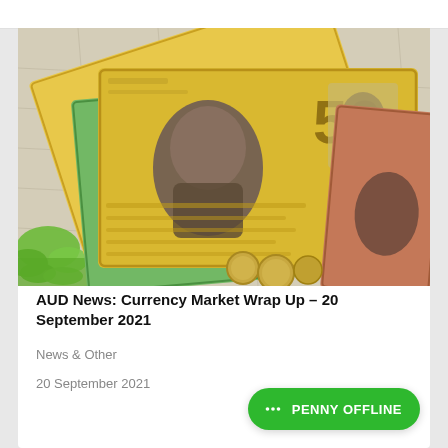[Figure (photo): Photo of Australian currency banknotes (including a $50 note) and coins spread out on a map, with green plants visible in the lower left corner.]
AUD News: Currency Market Wrap Up – 20 September 2021
News & Other
20 September 2021